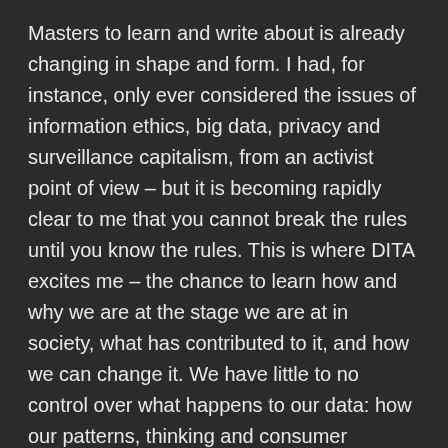Masters to learn and write about is already changing in shape and form. I had, for instance, only ever considered the issues of information ethics, big data, privacy and surveillance capitalism, from an activist point of view – but it is becoming rapidly clear to me that you cannot break the rules until you know the rules. This is where DITA excites me – the chance to learn how and why we are at the stage we are at in society, what has contributed to it, and how we can change it. We have little to no control over what happens to our data: how our patterns, thinking and consumer choices are dictated by which boxes we do or do not tick online; what we are shown and how we consume based on what we have looked at and consumed before; which privacy statements we choose to agree to without reading; the frightening degree to which big data lacks transparency; the fact that nobody is actually in charge of any of it therefore there is no accountability, there are multiple concerns with it...